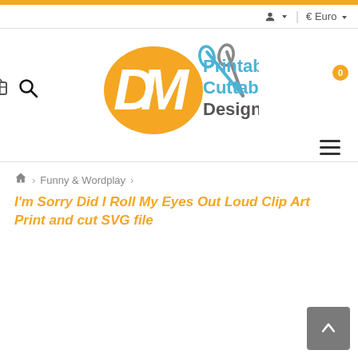DM Printable Cuttable Designs — navigation bar with user icon, Euro currency selector, search icon, logo, cart (0), hamburger menu
🏠 > Funny & Wordplay >
I'm Sorry Did I Roll My Eyes Out Loud Clip Art Print and cut SVG file